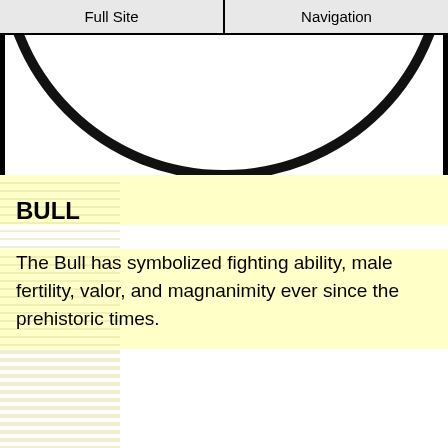Full Site | Navigation
[Figure (illustration): Bottom arc of a circular symbol or logo, showing a thick black circle arc against a white background]
BULL
The Bull has symbolized fighting ability, male fertility, valor, and magnanimity ever since the prehistoric times.